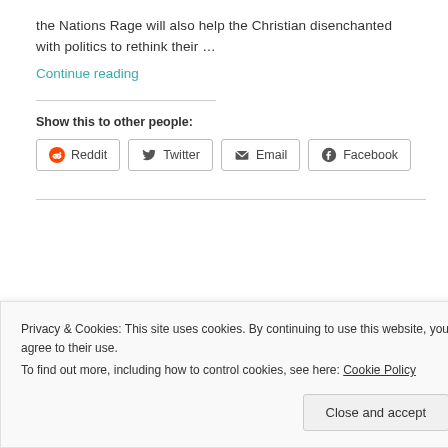the Nations Rage will also help the Christian disenchanted with politics to rethink their …
Continue reading
Show this to other people:
Reddit  Twitter  Email  Facebook
Privacy & Cookies: This site uses cookies. By continuing to use this website, you agree to their use.
To find out more, including how to control cookies, see here: Cookie Policy
Close and accept